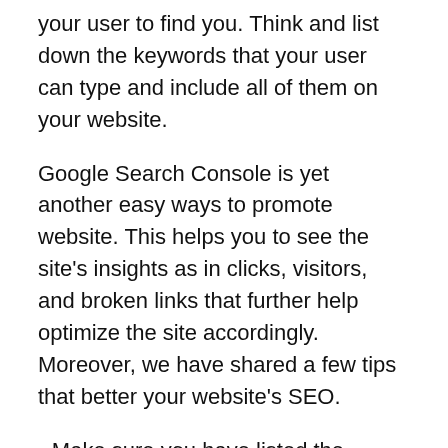your user to find you. Think and list down the keywords that your user can type and include all of them on your website.
Google Search Console is yet another easy ways to promote website. This helps you to see the site's insights as in clicks, visitors, and broken links that further help optimize the site accordingly. Moreover, we have shared a few tips that better your website's SEO.
• Make sure you have listed the website descriptions, title, and keywords that help users to find you.